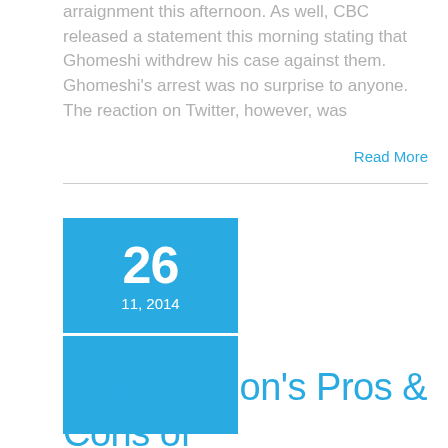arraignment this afternoon. As well, CBC released a statement this morning stating that Ghomeshi withdrew his case against them. Ghomeshi's arrest was no surprise to anyone. The reaction on Twitter, however, was
Read More
26
11, 2014
Jimmy Fallon's Pros & Cons of